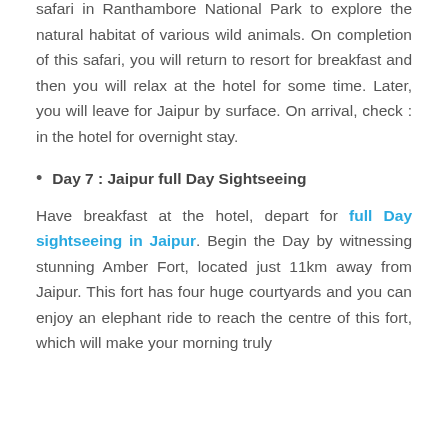safari in Ranthambore National Park to explore the natural habitat of various wild animals. On completion of this safari, you will return to resort for breakfast and then you will relax at the hotel for some time. Later, you will leave for Jaipur by surface. On arrival, check : in the hotel for overnight stay.
Day 7 : Jaipur full Day Sightseeing
Have breakfast at the hotel, depart for full Day sightseeing in Jaipur. Begin the Day by witnessing stunning Amber Fort, located just 11km away from Jaipur. This fort has four huge courtyards and you can enjoy an elephant ride to reach the centre of this fort, which will make your morning truly